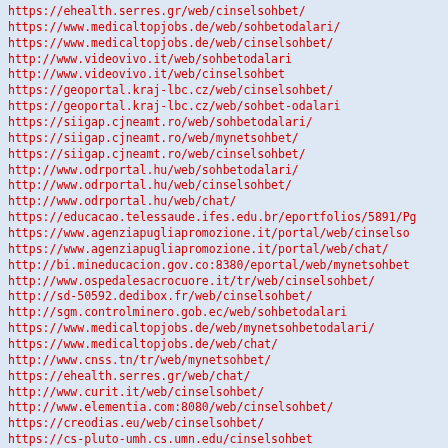https://ehealth.serres.gr/web/cinselsohbet/
https://www.medicaltopjobs.de/web/sohbetodalari/
https://www.medicaltopjobs.de/web/cinselsohbet/
http://www.videovivo.it/web/sohbetodalari
http://www.videovivo.it/web/cinselsohbet
https://geoportal.kraj-lbc.cz/web/cinselsohbet/
https://geoportal.kraj-lbc.cz/web/sohbet-odalari
https://siigap.cjneamt.ro/web/sohbetodalari/
https://siigap.cjneamt.ro/web/mynetsohbet/
https://siigap.cjneamt.ro/web/cinselsohbet/
http://www.odrportal.hu/web/sohbetodalari/
http://www.odrportal.hu/web/cinselsohbet/
http://www.odrportal.hu/web/chat/
https://educacao.telessaude.ifes.edu.br/eportfolios/5891/Pg
https://www.agenziapugliapromozione.it/portal/web/cinselso
https://www.agenziapugliapromozione.it/portal/web/chat/
http://bi.mineducacion.gov.co:8380/eportal/web/mynetsohbet
http://www.ospedalesacrocuore.it/tr/web/cinselsohbet/
http://sd-50592.dedibox.fr/web/cinselsohbet/
http://sgm.controlminero.gob.ec/web/sohbetodalari
https://www.medicaltopjobs.de/web/mynetsohbetodalari/
https://www.medicaltopjobs.de/web/chat/
http://www.cnss.tn/tr/web/mynetsohbet/
https://ehealth.serres.gr/web/chat/
http://www.curit.it/web/cinselsohbet/
http://www.elementia.com:8080/web/cinselsohbet/
https://creodias.eu/web/cinselsohbet/
https://cs-pluto-umh.cs.umn.edu/cinselsohbet
https://www.contratacionbogota.gov.co/tr/web/cinselsohbet/
https://twitter.com/cinselsobbete